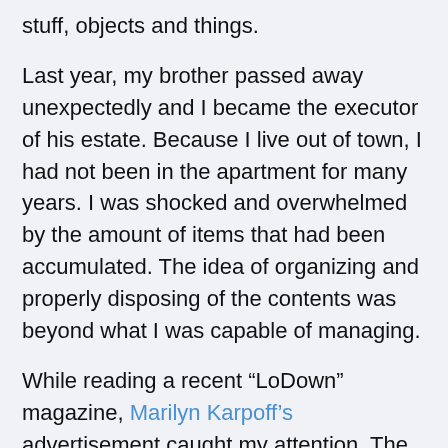stuff, objects and things.
Last year, my brother passed away unexpectedly and I became the executor of his estate. Because I live out of town, I had not been in the apartment for many years. I was shocked and overwhelmed by the amount of items that had been accumulated. The idea of organizing and properly disposing of the contents was beyond what I was capable of managing.
While reading a recent “LoDown” magazine, Marilyn Karpoff’s advertisement caught my attention. The services she described as a “senior transition specialist” seemed to be exactly what I needed. After speaking with Marilyn